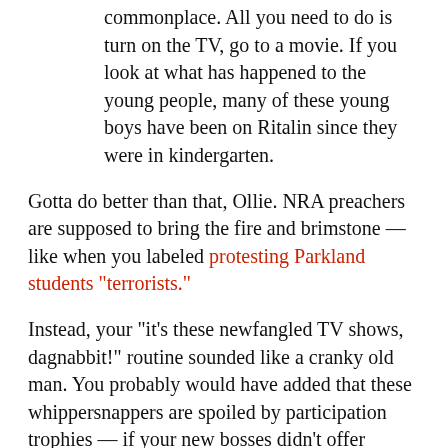commonplace. All you need to do is turn on the TV, go to a movie. If you look at what has happened to the young people, many of these young boys have been on Ritalin since they were in kindergarten.
Gotta do better than that, Ollie. NRA preachers are supposed to bring the fire and brimstone — like when you labeled protesting Parkland students "terrorists."
Instead, your "it's these newfangled TV shows, dagnabbit!" routine sounded like a cranky old man. You probably would have added that these whippersnappers are spoiled by participation trophies — if your new bosses didn't offer almost 200 trophies at its national shooting "championships." (At the NRA, everyone who isn't an animal, a criminal, a socialist, a gangbanger or a terrorist...is a winner!)
Fortunately for the NRA, and tragically for everyone else, Ollie will be a short one-term aberration in...